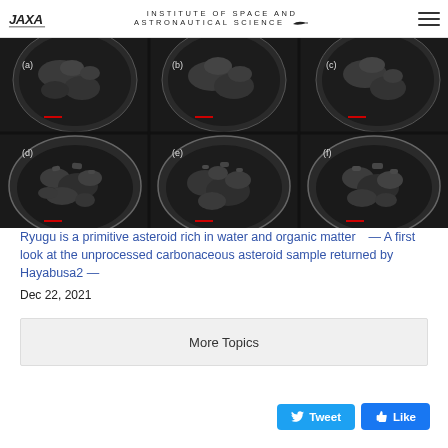JAXA — INSTITUTE OF SPACE AND ASTRONAUTICAL SCIENCE
[Figure (photo): Six petri dish containers arranged in 2 rows of 3, each containing dark black/carbonaceous asteroid sample material from Ryugu, returned by Hayabusa2. Labels (a) through (f) visible on dishes.]
Ryugu is a primitive asteroid rich in water and organic matter — A first look at the unprocessed carbonaceous asteroid sample returned by Hayabusa2 —
Dec 22, 2021
More Topics